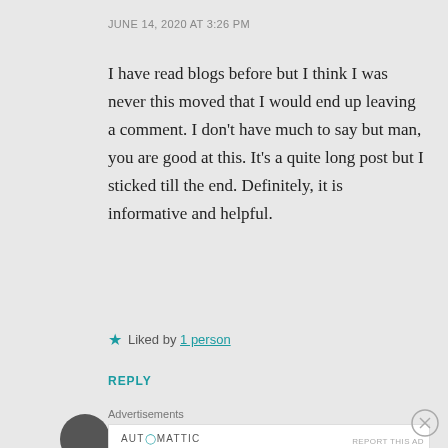JUNE 14, 2020 AT 3:26 PM
I have read blogs before but I think I was never this moved that I would end up leaving a comment. I don’t have much to say but man, you are good at this. It’s a quite long post but I sticked till the end. Definitely, it is informative and helpful.
★ Liked by 1 person
REPLY
Advertisements
AUT◯MATTIC — Build a better web and a better world.